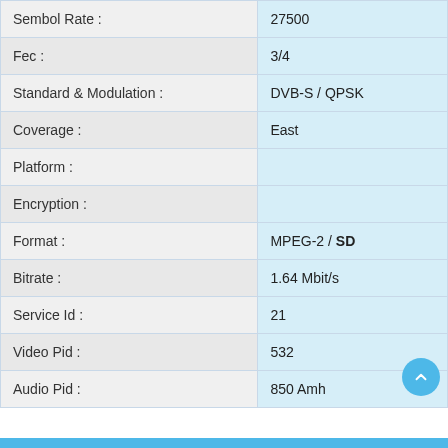| Field | Value |
| --- | --- |
| Sembol Rate : | 27500 |
| Fec : | 3/4 |
| Standard & Modulation : | DVB-S / QPSK |
| Coverage : | East |
| Platform : |  |
| Encryption : |  |
| Format : | MPEG-2 / SD |
| Bitrate : | 1.64 Mbit/s |
| Service Id : | 21 |
| Video Pid : | 532 |
| Audio Pid : | 850 Amh |